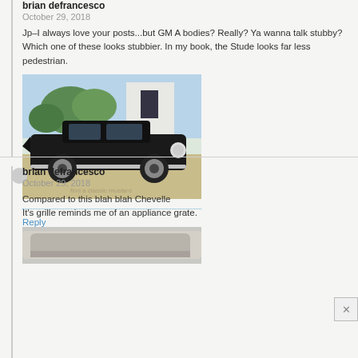brian defrancesco
October 29, 2018
Jp–I always love your posts...but GM A bodies? Really? Ya wanna talk stubby? Which one of these looks stubbier. In my book, the Stude looks far less pedestrian.
[Figure (photo): A black classic car (Studebaker) parked in front of a building with trees in background]
Reply
brian defrancesco
October 29, 2018
Compared to this blah blah Chevelle
It's grille reminds me of an appliance grate.
[Figure (photo): Partial view of another classic car (Chevelle)]